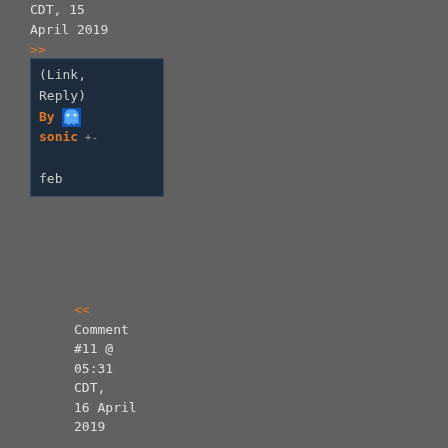CDT, 15 April 2019
>>
(Link, Reply)
By sonic
feb
<<
Comment #11 @ 05:31 CDT, 16 April 2019
>>
(Link, Reply)
By ProT - Reply to #6
2029
<<
Comment #9 @ 20:05 CDT, 15